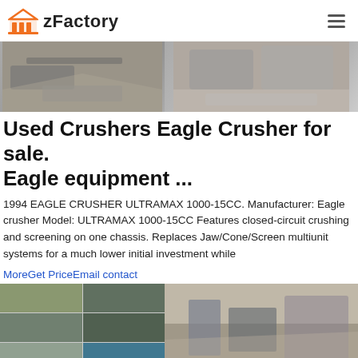[Figure (logo): zFactory logo with orange factory icon and bold text 'zFactory']
[Figure (photo): Banner showing heavy crushing and screening equipment on a job site, two images side by side]
Used Crushers Eagle Crusher for sale. Eagle equipment ...
1994 EAGLE CRUSHER ULTRAMAX 1000-15CC. Manufacturer: Eagle crusher Model: ULTRAMAX 1000-15CC Features closed-circuit crushing and screening on one chassis. Replaces Jaw/Cone/Screen multiunit systems for a much lower initial investment while
MoreGet PriceEmail contact
[Figure (photo): Grid of six smaller crusher/plant equipment photos on the left and a large photo of a crushing plant facility on the right]